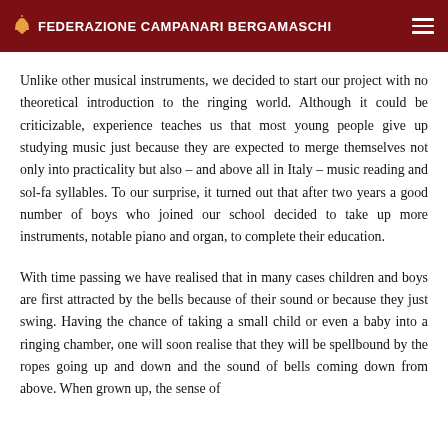FEDERAZIONE CAMPANARI BERGAMASCHI
Unlike other musical instruments, we decided to start our project with no theoretical introduction to the ringing world. Although it could be criticizable, experience teaches us that most young people give up studying music just because they are expected to merge themselves not only into practicality but also – and above all in Italy – music reading and sol-fa syllables. To our surprise, it turned out that after two years a good number of boys who joined our school decided to take up more instruments, notable piano and organ, to complete their education.
With time passing we have realised that in many cases children and boys are first attracted by the bells because of their sound or because they just swing. Having the chance of taking a small child or even a baby into a ringing chamber, one will soon realise that they will be spellbound by the ropes going up and down and the sound of bells coming down from above. When grown up, the sense of